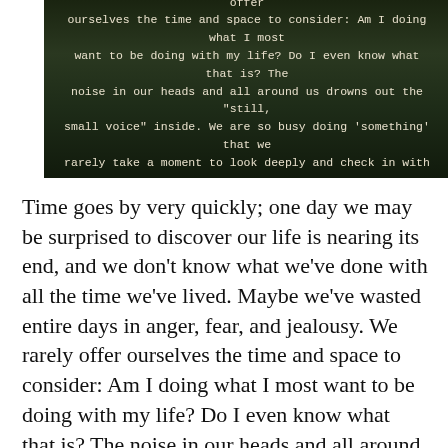[Figure (photo): Dark nature-background image with a Thich Nhat Hanh quote in monospace white text on a dark green/forest background. Quote text: 'we've done with all the time we've lived. Maybe we've wasted entire days in anger, fear, and jealousy. We rarely offer ourselves the time and space to consider: Am I doing what I most want to be doing with my life? Do I even know what that is? The noise in our heads and all around us drowns out the "still, small voice" inside. We are so busy doing something that we rarely take a moment to look deeply and check in with our deepest desires. Thich Nhat Hanh']
Time goes by very quickly; one day we may be surprised to discover our life is nearing its end, and we don't know what we've done with all the time we've lived. Maybe we've wasted entire days in anger, fear, and jealousy. We rarely offer ourselves the time and space to consider: Am I doing what I most want to be doing with my life? Do I even know what that is? The noise in our heads and all around us drowns out the “still, small voice” inside. We are so busy doing ‘something’ that we rarely take a moment to look deeply and check in with our deepest desires. – Thich